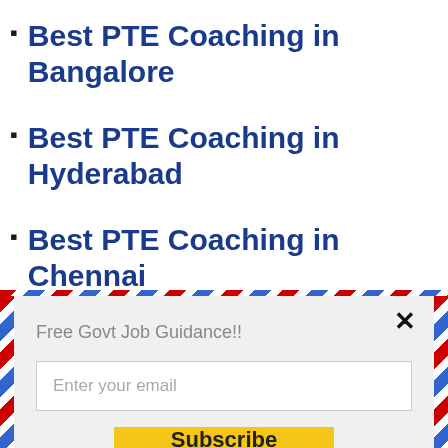Best PTE Coaching in Bangalore
Best PTE Coaching in Hyderabad
Best PTE Coaching in Chennai
[Figure (screenshot): Email subscription modal with airmail border, title 'Free Govt Job Guidance!!', email input field, Subscribe button, and 'powered by MailMunch' footer]